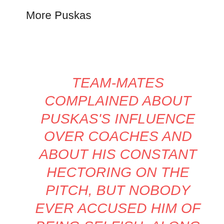More Puskas
TEAM-MATES COMPLAINED ABOUT PUSKAS'S INFLUENCE OVER COACHES AND ABOUT HIS CONSTANT HECTORING ON THE PITCH, BUT NOBODY EVER ACCUSED HIM OF BEING SELFISH. ALONG WITH EVERYTHING ELSE, HE WAS A HUGELY ASTUTE LEADER. IN HIS FIRST SEASON AT REAL MADRID, FOR INSTANCE, HE AND THE NOTORIOUSLY DIFFICULT ALFREDO DI STEFANO WERE JOINT